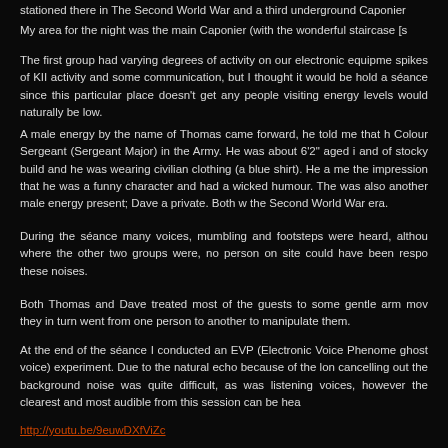stationed there in The Second World War and a third underground Caponier
My area for the night was the main Caponier (with the wonderful staircase [s
The first group had varying degrees of activity on our electronic equipme... spikes of KII activity and some communication, but I thought it would be hold a séance since this particular place doesn't get any people visiting energy levels would naturally be low.
A male energy by the name of Thomas came forward, he told me that h Colour Sergeant (Sergeant Major) in the Army. He was about 6'2" aged i and of stocky build and he was wearing civilian clothing (a blue shirt). He a me the impression that he was a funny character and had a wicked humour. The was also another male energy present; Dave a private. Both w the Second World War era.
During the séance many voices, mumbling and footsteps were heard, althou where the other two groups were, no person on site could have been respo these noises.
Both Thomas and Dave treated most of the guests to some gentle arm mov they in turn went from one person to another to manipulate them.
At the end of the séance I conducted an EVP (Electronic Voice Phenome ghost voice) experiment. Due to the natural echo because of the lon cancelling out the background noise was quite difficult, as was listening voices, however the clearest and most audible from this session can be hea
http://youtu.be/9euwDXfViZc